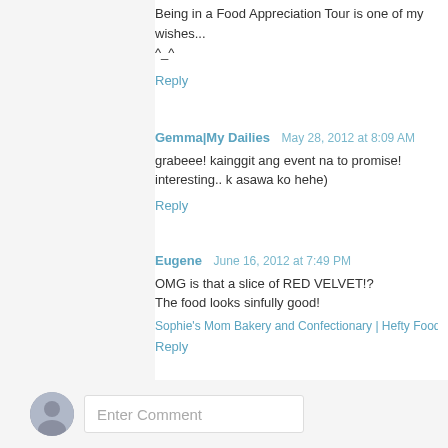Being in a Food Appreciation Tour is one of my wishes...
^_^
Reply
Gemma|My Dailies   May 28, 2012 at 8:09 AM
grabeee! kainggit ang event na to promise! interesting.. k asawa ko hehe)
Reply
Eugene   June 16, 2012 at 7:49 PM
OMG is that a slice of RED VELVET!?
The food looks sinfully good!
Sophie's Mom Bakery and Confectionary | Hefty Foodie: R
Reply
Enter Comment